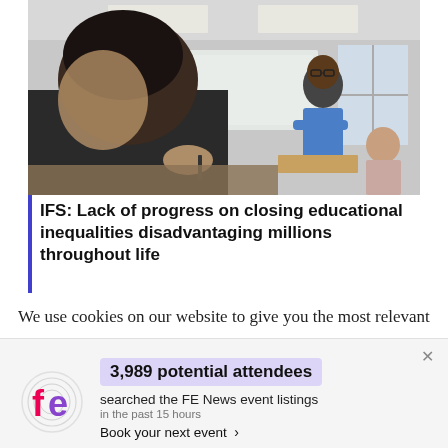[Figure (photo): Classroom photo showing a student writing in foreground (blurred), a Black male teacher standing with arms crossed in the background, and a female student studying at right. Office/classroom setting with fluorescent lights and windows.]
IFS: Lack of progress on closing educational inequalities disadvantaging millions throughout life
We use cookies on our website to give you the most relevant experience by remembering your preferences and repeat visits. By clicking “Accept”, you consent to
3,989 potential attendees searched the FE News event listings in the past 15 hours Book your next event >